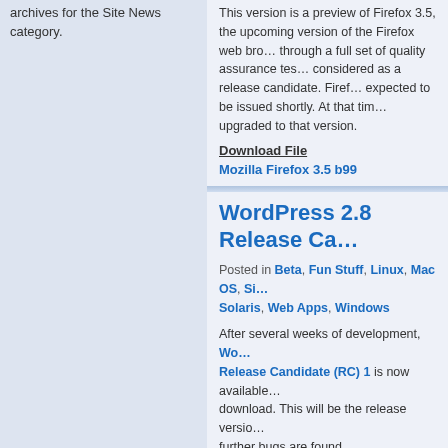archives for the Site News category.
This version is a preview of Firefox 3.5, the upcoming version of the Firefox web browser, through a full set of quality assurance tests considered as a release candidate. Firefox 3.5 is expected to be issued shortly. At that time, it will be upgraded to that version.
Download File
Mozilla Firefox 3.5 b99
WordPress 2.8 Release Ca...
Posted in Beta, Fun Stuff, Linux, Mac OS, Si... Solaris, Web Apps, Windows
After several weeks of development, Wor... Release Candidate (RC) 1 is now available... download. This will be the release versio... further bugs are found.
The official WordPress 2.8 release is exp... out in the public on Wednesday. So, kee... it.
Download File
WordPress 2.8 RC 1
Ubuntu 9.04 Netbook Remix...